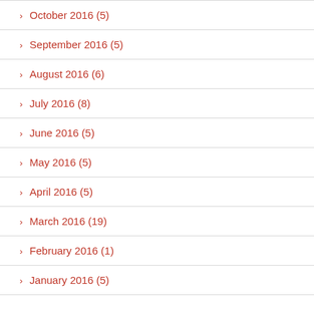October 2016 (5)
September 2016 (5)
August 2016 (6)
July 2016 (8)
June 2016 (5)
May 2016 (5)
April 2016 (5)
March 2016 (19)
February 2016 (1)
January 2016 (5)